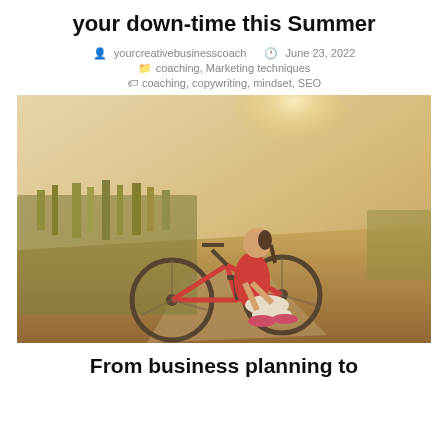your down-time this Summer
yourcreativebusinesscoach   June 23, 2022
coaching, Marketing techniques
coaching, copywriting, mindset, SEO
[Figure (photo): Woman sitting on the ground next to a bicycle on a dusty rural path, looking up, wearing red top and white shorts, warm golden sunlight in background with dry grass and open landscape.]
From business planning to